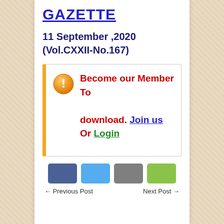GAZETTE
11 September ,2020
(Vol.CXXII-No.167)
Become our Member To download. Join us Or Login
← Previous Post   Next Post →